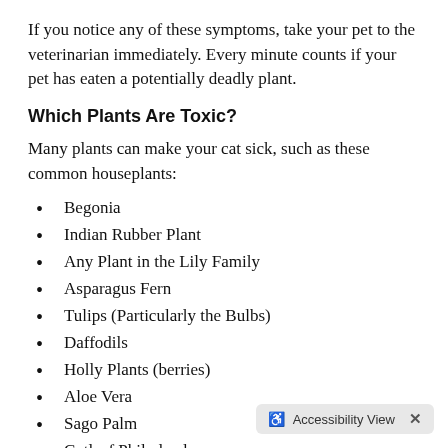If you notice any of these symptoms, take your pet to the veterinarian immediately. Every minute counts if your pet has eaten a potentially deadly plant.
Which Plants Are Toxic?
Many plants can make your cat sick, such as these common houseplants:
Begonia
Indian Rubber Plant
Any Plant in the Lily Family
Asparagus Fern
Tulips (Particularly the Bulbs)
Daffodils
Holly Plants (berries)
Aloe Vera
Sago Palm
Cutleaf Philodendron
Snake Plant
Devil's Ivy
Jade Plant
Amaryllis
Foxglove